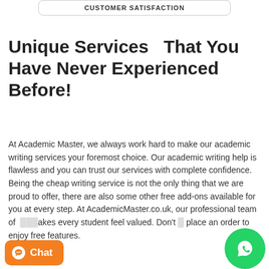CUSTOMER SATISFACTION
Unique Services  That You Have Never Experienced Before!
At Academic Master, we always work hard to make our academic writing services your foremost choice. Our academic writing help is flawless and you can trust our services with complete confidence. Being the cheap writing service is not the only thing that we are proud to offer, there are also some other free add-ons available for you at every step. At AcademicMaster.co.uk, our professional team of [writers] makes every student feel valued. Don't [hesitate] to place an order to enjoy free features.